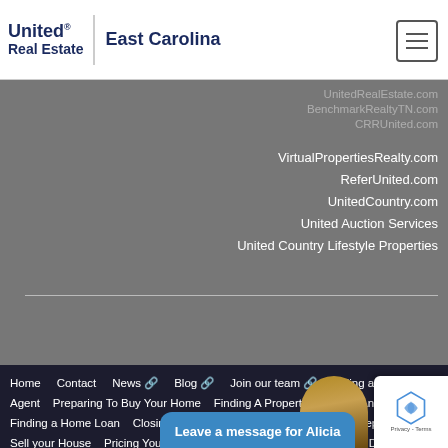United Real Estate | East Carolina
UnitedRealEstate.com
BenchmarkRealtyTN.com
CRRUnited.com
VirtualPropertiesRealty.com
ReferUnited.com
UnitedCountry.com
United Auction Services
United Country Lifestyle Properties
Home  Contact  News  Blog  Join our team  Finding a Good Agent  Preparing To Buy Your Home  Finding A Property  Making An Offer  Finding a Home Loan  Closing the Deal  Finding a Good Agent  Preparing To Sell your House  Pricing Your Home  Purchase Offers  Closing The Deal  The Closing itself  ?
Leave a message for Alicia